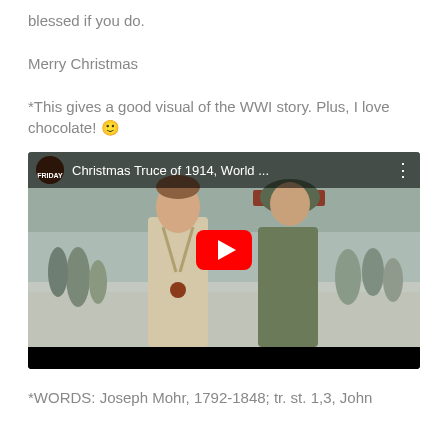blessed if you do.
Merry Christmas
*This gives a good visual of the WWI story. Plus, I love chocolate! 🙂
[Figure (screenshot): Embedded YouTube video thumbnail showing Christmas Truce of 1914, World War I scene with two soldiers facing each other. Video title reads 'Christmas Truce of 1914, World ...' with a Friday channel icon and YouTube play button.]
*WORDS: Joseph Mohr, 1792-1848; tr. st. 1,3, John